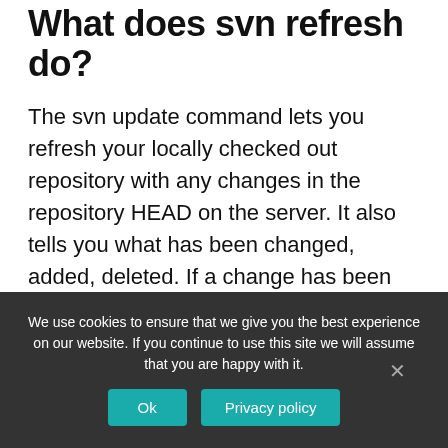What does svn refresh do?
The svn update command lets you refresh your locally checked out repository with any changes in the repository HEAD on the server. It also tells you what has been changed, added, deleted. If a change has been made to a file you have also changed locally, svn will try to merge those changes.
How do I pull code from Eclipse?
We use cookies to ensure that we give you the best experience on our website. If you continue to use this site we will assume that you are happy with it.